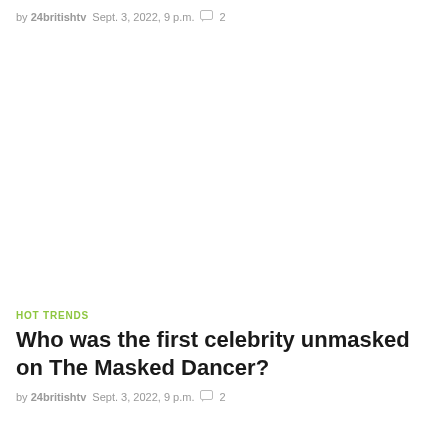by 24britishtv   Sept. 3, 2022, 9 p.m.   2
HOT TRENDS
Who was the first celebrity unmasked on The Masked Dancer?
by 24britishtv   Sept. 3, 2022, 9 p.m.   2